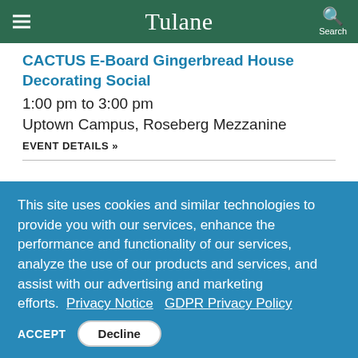Tulane
CACTUS E-Board Gingerbread House Decorating Social
1:00 pm to 3:00 pm
Uptown Campus, Roseberg Mezzanine
EVENT DETAILS »
This site uses cookies and similar technologies to provide you with our services, enhance the performance and functionality of our services, analyze the use of our products and services, and assist with our advertising and marketing efforts. Privacy Notice  GDPR Privacy Policy
ACCEPT  Decline